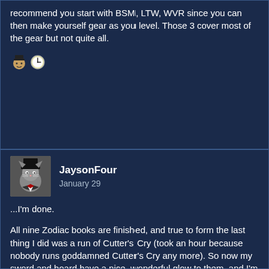recommend you start with BSM, LTW, WVR since you can then make yourself gear as you level. Those 3 cover most of the gear but not quite all.
[Figure (illustration): Two small emoji icons: a cartoon character emoji and a clock emoji side by side]
JaysonFour
January 29
...I'm done.
All nine Zodiac books are finished, and true to form the last thing I did was a run of Cutter's Cry (took an hour because nobody runs goddamned Cutter's Cry any more). So now my sword and board have a nice, wonderful glow to them, and I'm halfway done with the ARR Relic. Thank anything that's done.
So now I'm looking at taking my new relic and stuffing it full of so much materia and Alexandrite that it's going to look like a goddamned metal turducken by the time I'm done with it. Alexandrite, on the other hand, is going to be a problem, because it's going to require doing one of a few things: